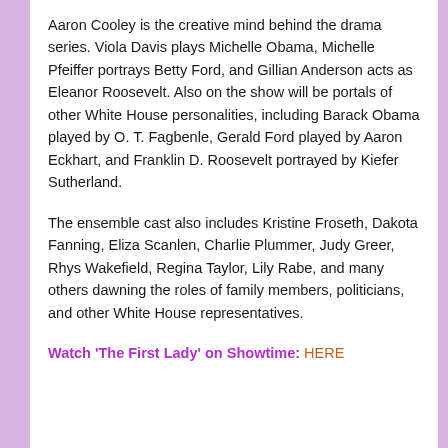Aaron Cooley is the creative mind behind the drama series. Viola Davis plays Michelle Obama, Michelle Pfeiffer portrays Betty Ford, and Gillian Anderson acts as Eleanor Roosevelt. Also on the show will be portals of other White House personalities, including Barack Obama played by O. T. Fagbenle, Gerald Ford played by Aaron Eckhart, and Franklin D. Roosevelt portrayed by Kiefer Sutherland.
The ensemble cast also includes Kristine Froseth, Dakota Fanning, Eliza Scanlen, Charlie Plummer, Judy Greer, Rhys Wakefield, Regina Taylor, Lily Rabe, and many others dawning the roles of family members, politicians, and other White House representatives.
Watch 'The First Lady' on Showtime: HERE